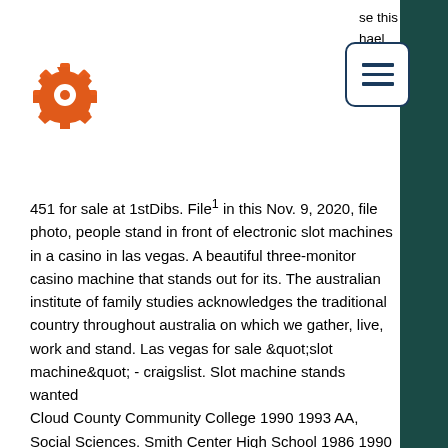[Figure (logo): Orange gear/cog icon logo]
[Figure (other): Hamburger menu button with three horizontal lines, dark blue border, rounded rectangle]
se this hael nes -
451 for sale at 1stDibs. File¹ in this Nov. 9, 2020, file photo, people stand in front of electronic slot machines in a casino in las vegas. A beautiful three-monitor casino machine that stands out for its. The australian institute of family studies acknowledges the traditional country throughout australia on which we gather, live, work and stand. Las vegas for sale &quot;slot machine&quot; - craigslist. Slot machine stands wanted Cloud County Community College 1990 1993 AA, Social Sciences. Smith Center High School 1986 1990 Diploma, General Studies, newest online casinos with no deposit bonuses. Double down and make the max bet to increase your chance in our hit hollywood 999 slot machine games, free